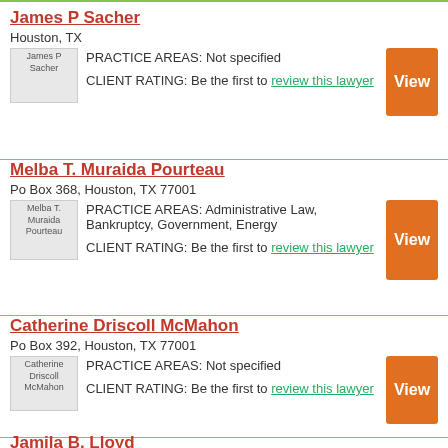James P Sacher
Houston, TX
PRACTICE AREAS: Not specified
CLIENT RATING: Be the first to review this lawyer
Melba T. Muraida Pourteau
Po Box 368, Houston, TX 77001
PRACTICE AREAS: Administrative Law, Bankruptcy, Government, Energy
CLIENT RATING: Be the first to review this lawyer
Catherine Driscoll McMahon
Po Box 392, Houston, TX 77001
PRACTICE AREAS: Not specified
CLIENT RATING: Be the first to review this lawyer
Jamila B. Lloyd